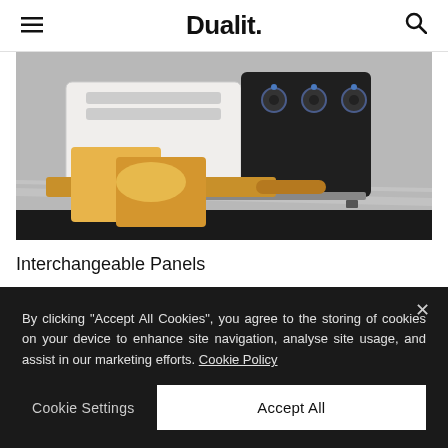☰  Dualit.  🔍
[Figure (photo): Photo of a black and white Dualit toaster on a marble countertop with toast on a wooden board]
Interchangeable Panels
A range of different coloured panel packs are available for your
By clicking "Accept All Cookies", you agree to the storing of cookies on your device to enhance site navigation, analyse site usage, and assist in our marketing efforts. Cookie Policy
Cookie Settings   Accept All